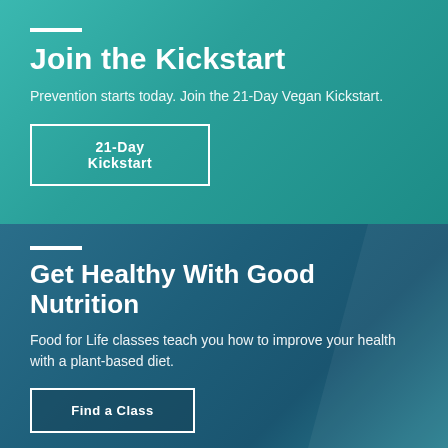Join the Kickstart
Prevention starts today. Join the 21-Day Vegan Kickstart.
21-Day Kickstart
Get Healthy With Good Nutrition
Food for Life classes teach you how to improve your health with a plant-based diet.
Find a Class